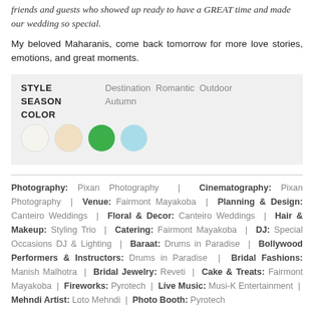friends and guests who showed up ready to have a GREAT time and made our wedding so special.
My beloved Maharanis, come back tomorrow for more love stories, emotions, and great moments.
STYLE: Destination  Romantic  Outdoor
SEASON: Autumn
COLOR: [color swatches: white, peach, green, light blue]
Photography: Pixan Photography | Cinematography: Pixan Photography | Venue: Fairmont Mayakoba | Planning & Design: Canteiro Weddings | Floral & Decor: Canteiro Weddings | Hair & Makeup: Styling Trio | Catering: Fairmont Mayakoba | DJ: Special Occasions DJ & Lighting | Baraat: Drums in Paradise | Bollywood Performers & Instructors: Drums in Paradise | Bridal Fashions: Manish Malhotra | Bridal Jewelry: Reveti | Cake & Treats: Fairmont Mayakoba | Fireworks: Pyrotech | Live Music: Musi-K Entertainment | Mehndi Artist: Loto Mehndi | Photo Booth: Pyrotech